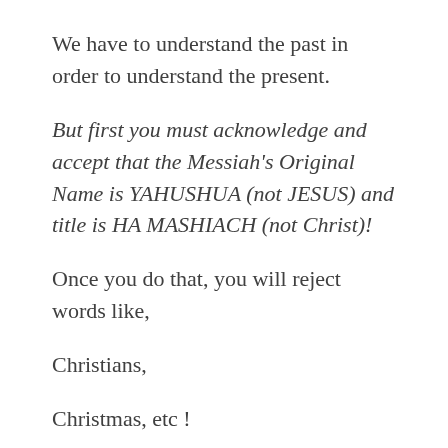We have to understand the past in order to understand the present.
But first you must acknowledge and accept that the Messiah's Original Name is YAHUSHUA (not JESUS) and title is HA MASHIACH (not Christ)!
Once you do that, you will reject words like,
Christians,
Christmas, etc !
Because they were all created by the Roman Catholic Church to get us to start practising paganism mixed with YAH hence idolatry.